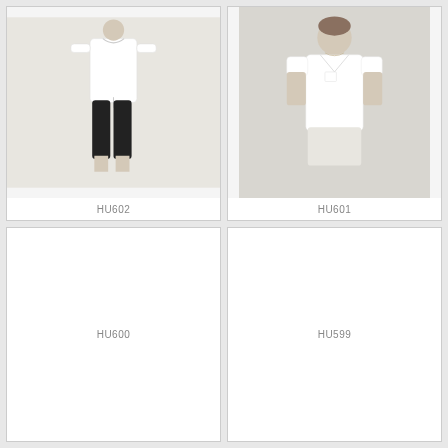[Figure (photo): Person wearing white top and dark cropped pants, product HU602]
HU602
[Figure (photo): Person wearing white V-neck short sleeve top, product HU601]
HU601
[Figure (other): Empty product card placeholder for HU600]
HU600
[Figure (other): Empty product card placeholder for HU599]
HU599